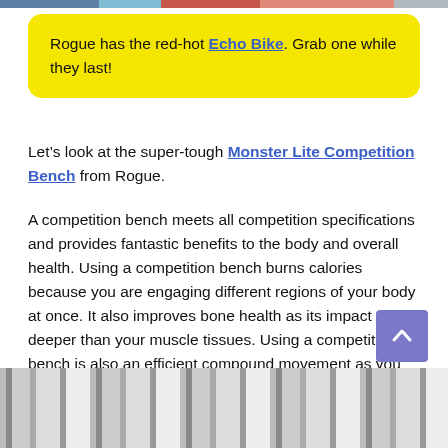Rogue has the red-hot Echo Bike. Grab one while they last!
Let’s look at the super-tough Monster Lite Competition Bench from Rogue.
A competition bench meets all competition specifications and provides fantastic benefits to the body and overall health. Using a competition bench burns calories because you are engaging different regions of your body at once. It also improves bone health as its impact goes deeper than your muscle tissues. Using a competition bench is also an efficient compound movement as you engage your triceps, pectorals, anterior deltoids, and even some of the muscles that cover your ribs.
[Figure (photo): Bottom portion of a weight bench/barbell rack equipment photo]